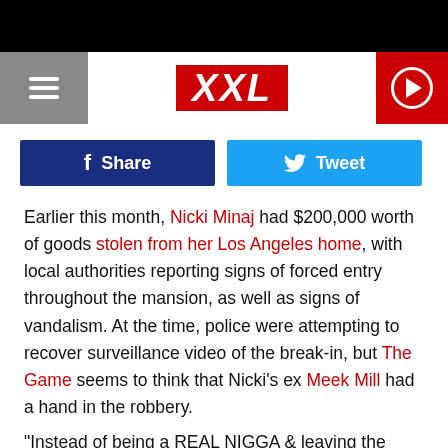[Figure (screenshot): Black top bar]
XXL logo with hamburger menu and play button
[Figure (infographic): Share and Tweet social buttons]
Earlier this month, Nicki Minaj had $200,000 worth of goods stolen from her Los Angeles home, with local authorities reporting signs of forced entry throughout the mansion, as well as signs of vandalism. At the time, police were attempting to recover surveillance video of the break-in, but The Game seems to think that Nicki's ex Meek Mill had a hand in the robbery.
"Instead of being a REAL NIGGA & leaving the situation with ya head up standing tall, you in ya feelings so you get her